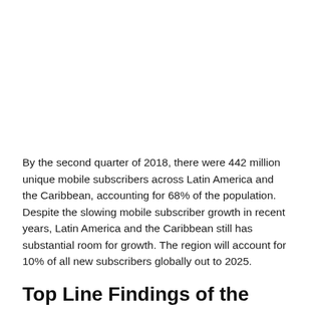By the second quarter of 2018, there were 442 million unique mobile subscribers across Latin America and the Caribbean, accounting for 68% of the population. Despite the slowing mobile subscriber growth in recent years, Latin America and the Caribbean still has substantial room for growth. The region will account for 10% of all new subscribers globally out to 2025.
Top Line Findings of the